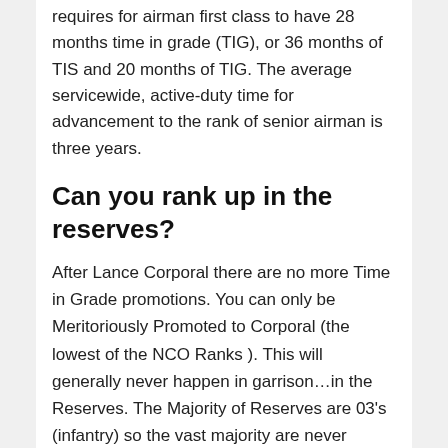requires for airman first class to have 28 months time in grade (TIG), or 36 months of TIS and 20 months of TIG. The average servicewide, active-duty time for advancement to the rank of senior airman is three years.
Can you rank up in the reserves?
After Lance Corporal there are no more Time in Grade promotions. You can only be Meritoriously Promoted to Corporal (the lowest of the NCO Ranks ). This will generally never happen in garrison…in the Reserves. The Majority of Reserves are 03's (infantry) so the vast majority are never promoted.